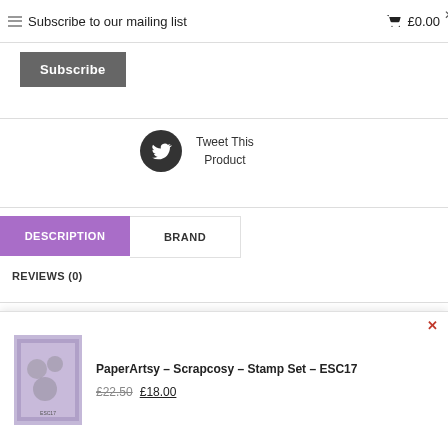Subscribe to our mailing list   £0.00
Subscribe
[Figure (illustration): Twitter bird icon in dark circle]
Tweet This Product
DESCRIPTION
BRAND
REVIEWS (0)
An A5 size RED Rubber Set of stamps (5" x 7") presented in hanging bag
[Figure (photo): Thumbnail image of PaperArtsy Scrapcosy Stamp Set ESC17 product]
PaperArtsy – Scrapcosy – Stamp Set – ESC17
£22.50 £18.00